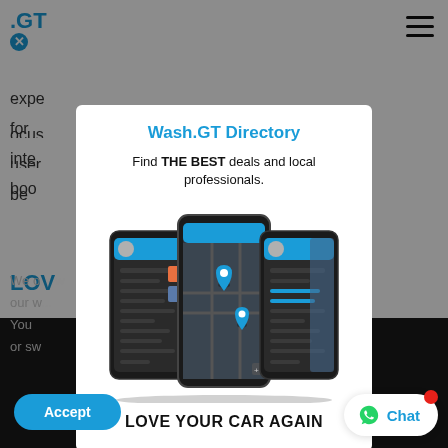[Figure (screenshot): Mobile app website screenshot showing Wash.GT Directory modal popup over a webpage background. The modal contains a title 'Wash.GT Directory', subtitle 'Find THE BEST deals and local professionals.', three smartphone mockups showing the app interface, and the text 'LOVE YOUR CAR AGAIN'. Background shows partial web content and a dark footer. Bottom buttons: Accept (blue) and Chat (white with WhatsApp icon).]
Wash.GT Directory
Find THE BEST deals and local professionals.
LOVE YOUR CAR AGAIN